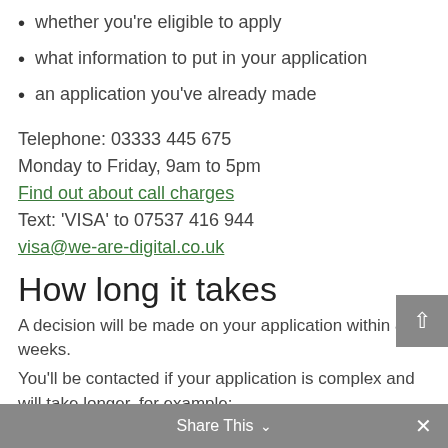whether you’re eligible to apply
what information to put in your application
an application you’ve already made
Telephone: 03333 445 675
Monday to Friday, 9am to 5pm
Find out about call charges
Text: ‘VISA’ to 07537 416 944
visa@we-are-digital.co.uk
How long it takes
A decision will be made on your application within 8 weeks.
You’ll be contacted if your application is complex and will take longer, for example:
if your supporting documents need to be verified
if you need to attend an interview
because of your personal circumstances (for